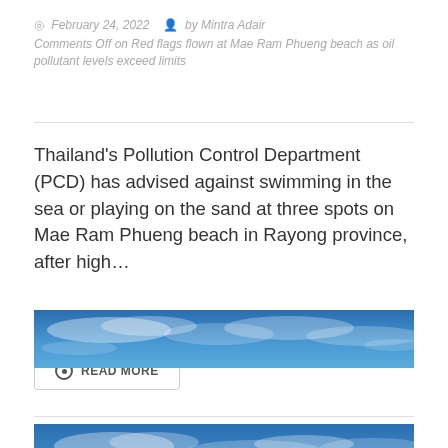February 24, 2022  by Mintra Adair
Comments Off on Red flags flown at Mae Ram Phueng beach as oil pollutant levels exceed limits
Thailand's Pollution Control Department (PCD) has advised against swimming in the sea or playing on the sand at three spots on Mae Ram Phueng beach in Rayong province, after high...
READ MORE
[Figure (photo): Blue sky with white clouds, wide panoramic banner image]